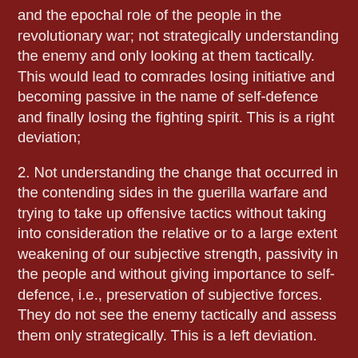and the epochal role of the people in the revolutionary war; not strategically understanding the enemy and only looking at them tactically. This would lead to comrades losing initiative and becoming passive in the name of self-defence and finally losing the fighting spirit. This is a right deviation;
2. Not understanding the change that occurred in the contending sides in the guerilla warfare and trying to take up offensive tactics without taking into consideration the relative or to a large extent weakening of our subjective strength, passivity in the people and without giving importance to self-defence, i.e., preservation of subjective forces. They do not see the enemy tactically and assess them only strategically. This is a left deviation.
So studying the new changes that occurred in the revolutionary war and strengths and weaknesses of both the enemy's and ours along with study of the overall social, economic, political and cultural changes that occurred in the country is very crucial to bring about acceleration in our guerilla warfare. This is one of the main aspects that we are seeking to achieve through our Bolshevisation. Increasing